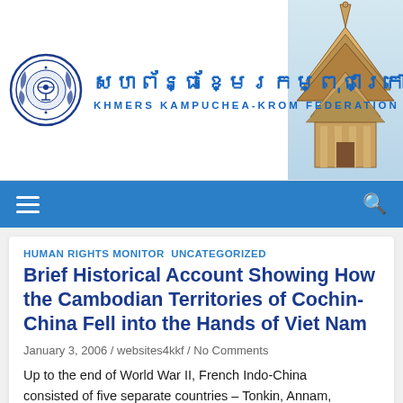[Figure (logo): Khmers Kampuchea-Krom Federation logo with circular emblem and Khmer script title, with temple image on right]
KHMERS KAMPUCHEA-KROM FEDERATION
HUMAN RIGHTS MONITOR  UNCATEGORIZED
Brief Historical Account Showing How the Cambodian Territories of Cochin-China Fell into the Hands of Viet Nam
January 3, 2006 / websites4kkf / No Comments
Up to the end of World War II, French Indo-China consisted of five separate countries – Tonkin, Annam, Cochin-China, Laos, and Cambodia. The former three are now inhabited by a population commonly known as the